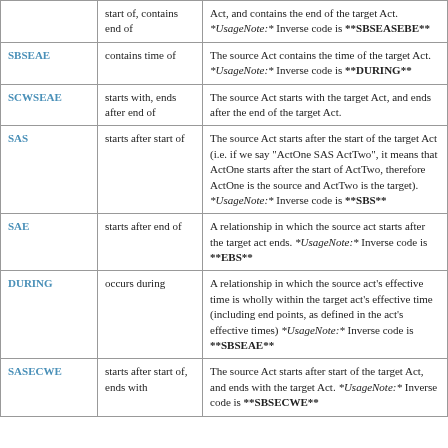| Code | Relationship | Description |
| --- | --- | --- |
|  | start of, contains end of | Act, and contains the end of the target Act. *UsageNote:* Inverse code is **SBSEASEBE** |
| SBSEAE | contains time of | The source Act contains the time of the target Act. *UsageNote:* Inverse code is **DURING** |
| SCWSEAE | starts with, ends after end of | The source Act starts with the target Act, and ends after the end of the target Act. |
| SAS | starts after start of | The source Act starts after the start of the target Act (i.e. if we say "ActOne SAS ActTwo", it means that ActOne starts after the start of ActTwo, therefore ActOne is the source and ActTwo is the target). *UsageNote:* Inverse code is **SBS** |
| SAE | starts after end of | A relationship in which the source act starts after the target act ends. *UsageNote:* Inverse code is **EBS** |
| DURING | occurs during | A relationship in which the source act's effective time is wholly within the target act's effective time (including end points, as defined in the act's effective times) *UsageNote:* Inverse code is **SBSEAE** |
| SASECWE | starts after start of, ends with | The source Act starts after start of the target Act, and ends with the target Act. *UsageNote:* Inverse code is **SBSECWE** |